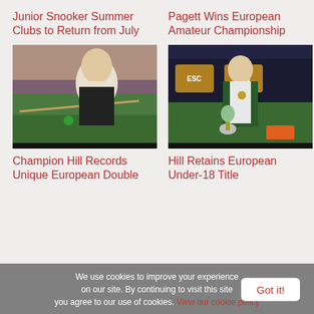Junior Snooker Summer Clubs to Return from July
Pagett Wins European Amateur Championship
[Figure (photo): Young snooker player leaning over green table to take a shot, wearing black waistcoat]
[Figure (photo): Young snooker player standing at green table with trophy, wearing green waistcoat and medal, ESC Online backdrop visible]
Champion Hill Records Unique European Double
Hill Retains European Under-18 Title
We use cookies to improve your experience on our site. By continuing to visit this site you agree to our use of cookies. View our cookie policy